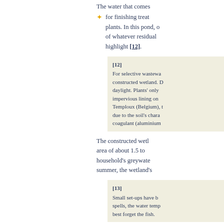The water that comes for finishing treatment plants. In this pond, o of whatever residual highlight [12].
for finishing treat plants.
[12] For selective wastewa constructed wetland. d daylight. Plants' only impervious lining on Temploux (Belgium), t due to the soil's chara coagulant (aluminium
The constructed wetl area of about 1.5 to household's greywater summer, the wetland's
[13] Small set-ups have b spells, the water temp best forget the fish.
Another word of caut water, well water or ri few days after having